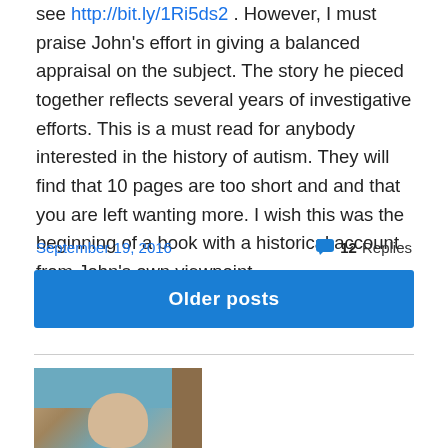see http://bit.ly/1Ri5ds2 . However, I must praise John's effort in giving a balanced appraisal on the subject. The story he pieced together reflects several years of investigative efforts. This is a must read for anybody interested in the history of autism. They will find that 10 pages are too short and and that you are left wanting more. I wish this was the beginning of a book with a historical account from John's own viewpoint.
September 19, 2016
12 Replies
Older posts
[Figure (photo): Partial photo of a person, showing the top of a head with light/white hair, brownish and teal background tones suggesting an indoor portrait setting.]